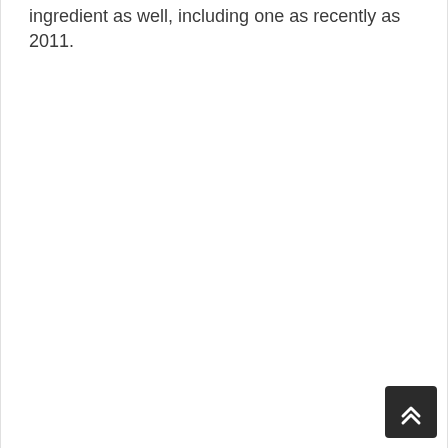ingredient as well, including one as recently as 2011.
[Figure (other): Back to top button - dark rounded square with double chevron up arrow icon in bottom right corner]